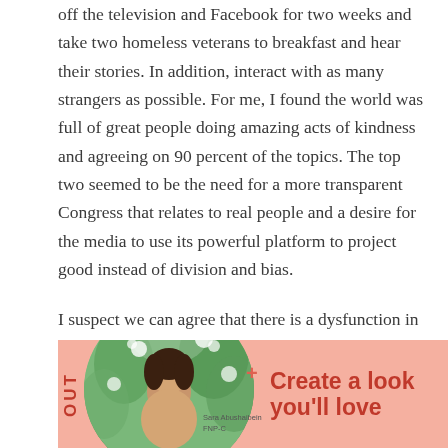off the television and Facebook for two weeks and take two homeless veterans to breakfast and hear their stories. In addition, interact with as many strangers as possible. For me, I found the world was full of great people doing amazing acts of kindness and agreeing on 90 percent of the topics. The top two seemed to be the need for a more transparent Congress that relates to real people and a desire for the media to use its powerful platform to project good instead of division and bias.
I suspect we can agree that there is a dysfunction in the effectiveness of our government. How can we be more effective? Does the two-party system serve as a benefit? As a people, can we come up with more solutions than complaints? At one point or another we have likely said we cannot get change accomplished. Let's keep trying.
[Figure (infographic): Advertisement banner with pink background. Left side shows vertical text 'OUT' in red. Center shows a woman with floral background in a circular crop, with name tag 'Sara Abushaibein FNP-C' and a plus symbol. Right side shows text 'Create a look you'll love' in red bold font.]